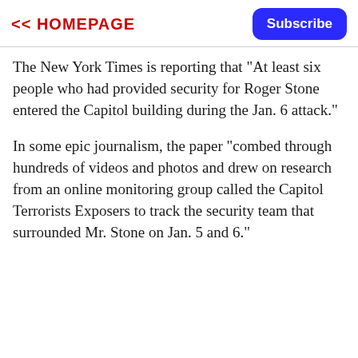<< HOMEPAGE
The New York Times is reporting that "At least six people who had provided security for Roger Stone entered the Capitol building during the Jan. 6 attack."
In some epic journalism, the paper "combed through hundreds of videos and photos and drew on research from an online monitoring group called the Capitol Terrorists Exposers to track the security team that surrounded Mr. Stone on Jan. 5 and 6."